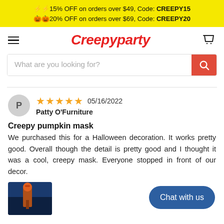⚡⚡15% OFF on orders over $49, Code: CREEPY15
🎃🎃20% OFF on orders over $69, Code: CREEPY20
Creepyparty
What are you looking for?
Patty O'Furniture
Creepy pumpkin mask
We purchased this for a Halloween decoration. It works pretty good. Overall though the detail is pretty good and I thought it was a cool, creepy mask. Everyone stopped in front of our decor.
[Figure (photo): Photo thumbnail of a Halloween decoration scene with a figure against a dark blue sky.]
Chat with us